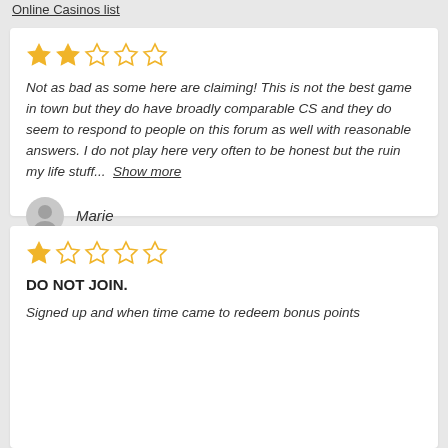Online Casinos list
[Figure (other): 2-star rating out of 5 stars]
Not as bad as some here are claiming! This is not the best game in town but they do have broadly comparable CS and they do seem to respond to people on this forum as well with reasonable answers. I do not play here very often to be honest but the ruin my life stuff...  Show more
Marie
[Figure (other): 1-star rating out of 5 stars]
DO NOT JOIN.
Signed up and when time came to redeem bonus points